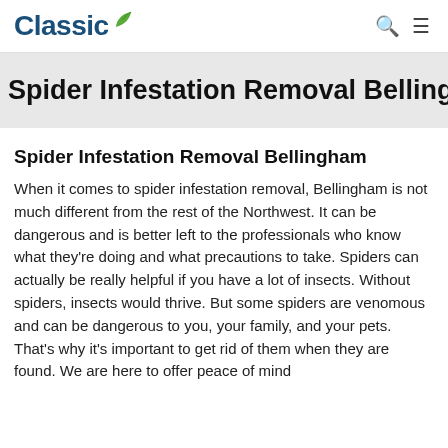Classic [logo with leaf]
Spider Infestation Removal Bellingham
Spider Infestation Removal Bellingham
When it comes to spider infestation removal, Bellingham is not much different from the rest of the Northwest. It can be dangerous and is better left to the professionals who know what they're doing and what precautions to take. Spiders can actually be really helpful if you have a lot of insects. Without spiders, insects would thrive. But some spiders are venomous and can be dangerous to you, your family, and your pets. That's why it's important to get rid of them when they are found. We are here to offer peace of mind